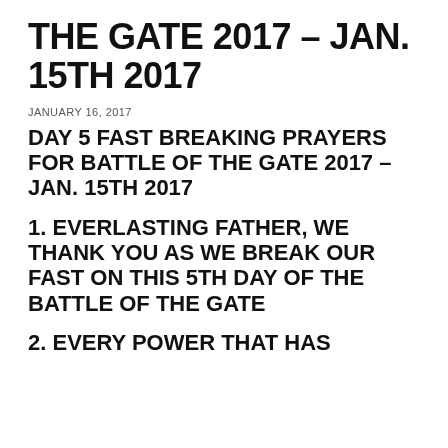THE GATE 2017 – JAN. 15TH 2017
JANUARY 16, 2017
DAY 5 FAST BREAKING PRAYERS FOR BATTLE OF THE GATE 2017 – JAN. 15TH 2017
1. EVERLASTING FATHER, WE THANK YOU AS WE BREAK OUR FAST ON THIS 5TH DAY OF THE BATTLE OF THE GATE
2. EVERY POWER THAT HAS